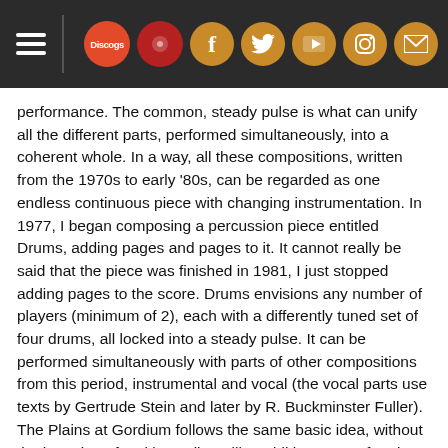Navigation bar with hamburger menu, Discogs logo, and social media icons (Facebook, Twitter, YouTube, Instagram, Email)
performance. The common, steady pulse is what can unify all the different parts, performed simultaneously, into a coherent whole. In a way, all these compositions, written from the 1970s to early '80s, can be regarded as one endless continuous piece with changing instrumentation. In 1977, I began composing a percussion piece entitled Drums, adding pages and pages to it. It cannot really be said that the piece was finished in 1981, I just stopped adding pages to the score. Drums envisions any number of players (minimum of 2), each with a differently tuned set of four drums, all locked into a steady pulse. It can be performed simultaneously with parts of other compositions from this period, instrumental and vocal (the vocal parts use texts by Gertrude Stein and later by R. Buckminster Fuller). The Plains at Gordium follows the same basic idea, without the intention of making collage-like additions or performing parts of it with other compositions (although there were performances with some vocal segments from There is Singularly Nothing). Unlike the early pieces, it sometimes takes off, doubling in tempo. Also, bells have been added here, in addition to the set of six differently tuned drums for each player. - Petr Kotik, March 2022